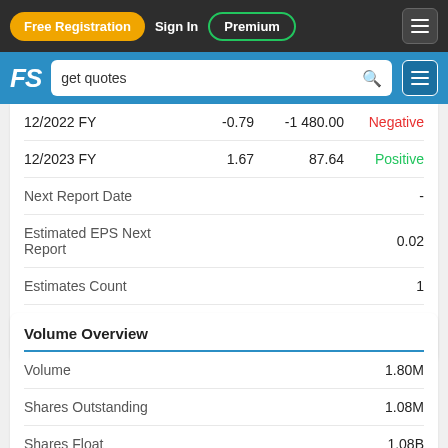Free Registration | Sign In | Premium
| Period | EPS | Net Income | Sentiment |
| --- | --- | --- | --- |
| 12/2022 FY | -0.79 | -1 480.00 | Negative |
| 12/2023 FY | 1.67 | 87.64 | Positive |
| Next Report Date |  |  | - |
| Estimated EPS Next Report |  |  | 0.02 |
| Estimates Count |  |  | 1 |
| EPS Growth Next 5 Years % |  |  | - |
Volume Overview
| Metric | Value |
| --- | --- |
| Volume | 1.80M |
| Shares Outstanding | 1.08M |
| Shares Float | 1.08B |
| Trades Count | 3.39K |